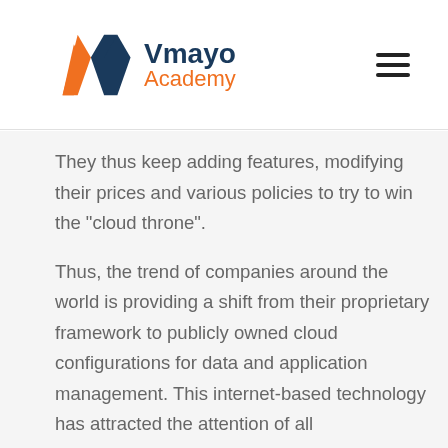Vmayo Academy
They thus keep adding features, modifying their prices and various policies to try to win the “cloud throne”.
Thus, the trend of companies around the world is providing a shift from their proprietary framework to publicly owned cloud configurations for data and application management. This internet-based technology has attracted the attention of all